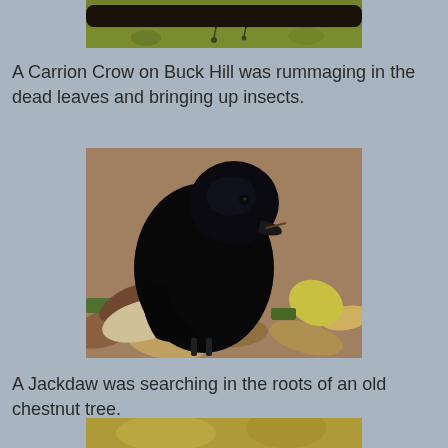[Figure (photo): Top portion of a bird photo showing branches against a blurred green background — partial view, cropped at top]
A Carrion Crow on Buck Hill was rummaging in the dead leaves and bringing up insects.
[Figure (photo): A black crow (Jackdaw) foraging among fallen autumn leaves of various colors — brown, yellow, orange — on the ground]
A Jackdaw was searching in the roots of an old chestnut tree.
[Figure (photo): Bottom portion of another bird photo — partially visible at bottom of page, showing yellowish-brown background]